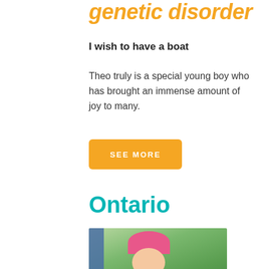genetic disorder
I wish to have a boat
Theo truly is a special young boy who has brought an immense amount of joy to many.
SEE MORE
Ontario
[Figure (photo): A smiling young girl wearing a pink baseball cap and white zip-up hoodie, photographed outdoors with green grass and dark background behind her.]